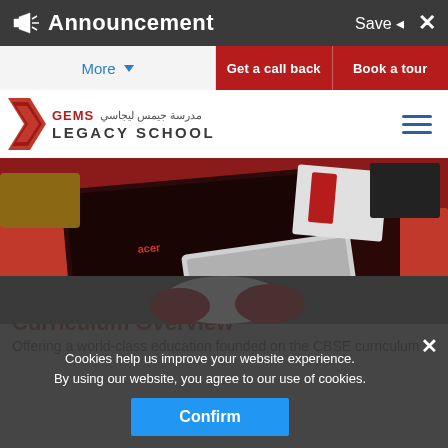Announcement  Save  X
More  |  Get a call back  |  Book a tour
[Figure (logo): GEMS Legacy School logo with red chevron and school name in English and Arabic]
[Figure (photo): Photo of students' laptops and tablets on red desks in a classroom setting]
Curriculum Overview
Offering a world-class education founded on the CBSE curriculum
Cookies help us improve your website experience.
By using our website, you agree to our use of cookies.
Confirm